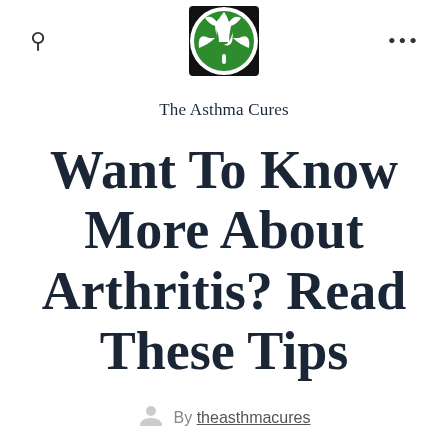The Asthma Cures
Want To Know More About Arthritis? Read These Tips
By theasthmacures